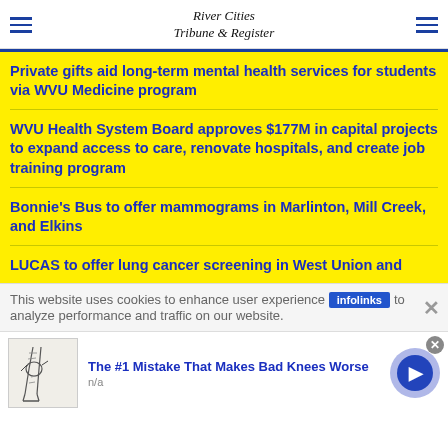River Cities Tribune & Register
Private gifts aid long-term mental health services for students via WVU Medicine program
WVU Health System Board approves $177M in capital projects to expand access to care, renovate hospitals, and create job training program
Bonnie's Bus to offer mammograms in Marlinton, Mill Creek, and Elkins
LUCAS to offer lung cancer screening in West Union and...
This website uses cookies to enhance user experience to analyze performance and traffic on our website.
[Figure (screenshot): Infolinks advertisement banner: 'The #1 Mistake That Makes Bad Knees Worse' with knee illustration and n/a label, with a blue play button]